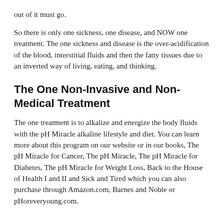out of it must go.
So there is only one sickness, one disease, and NOW one treatment. The one sickness and disease is the over-acidification of the blood, interstitial fluids and then the fatty tissues due to an inverted way of living, eating, and thinking.
The One Non-Invasive and Non-Medical Treatment
The one treatment is to alkalize and energize the body fluids with the pH Miracle alkaline lifestyle and diet. You can learn more about this program on our website or in our books, The pH Miracle for Cancer, The pH Miracle, The pH Miracle for Diabetes, The pH Miracle for Weight Loss, Back to the House of Health I and II and Sick and Tired which you can also purchase through Amazon.com, Barnes and Noble or pHoreveryoung.com.